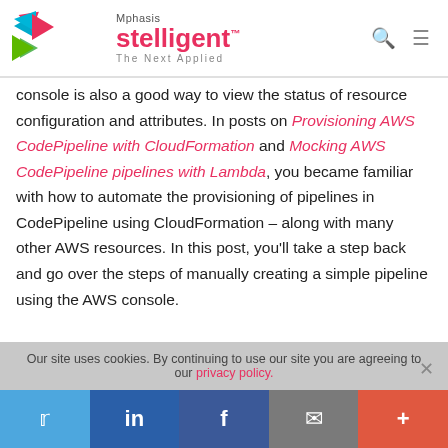Mphasis Stelligent – The Next Applied
console is also a good way to view the status of resource configuration and attributes. In posts on Provisioning AWS CodePipeline with CloudFormation and Mocking AWS CodePipeline pipelines with Lambda, you became familiar with how to automate the provisioning of pipelines in CodePipeline using CloudFormation – along with many other AWS resources. In this post, you'll take a step back and go over the steps of manually creating a simple pipeline using the AWS console.
Our site uses cookies. By continuing to use our site you are agreeing to our privacy policy.